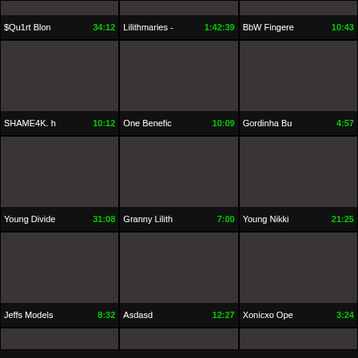[Figure (screenshot): Video thumbnail grid with titles and durations. Row 0 (partial): $Qu1rt Blon 34:12, Lilithmaries - 1:42:39, BbW Fingere 10:43. Row 1: SHAME4K. h 10:12, One Benefic 10:09, Gordinha Bu 4:57. Row 2: Young Divide 31:08, Granny Lilith 7:00, Young Nikki 21:25. Row 3: Jeffs Models 8:32, Asdasd 12:27, Xonicxo Ope 3:24. Row 4 (partial): thumbnails only.]